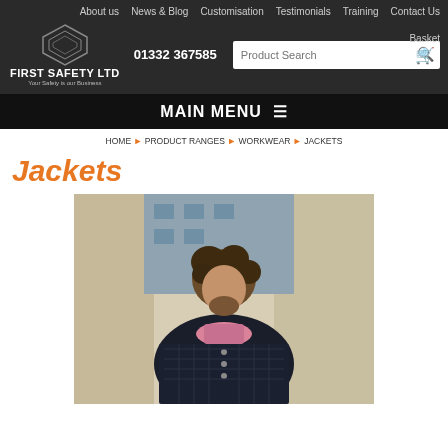First Safety Ltd — Your Safety is our Business | 01332 367585
About us   News & Blog   Customisation   Testimonials   Training   Contact Us   Basket
MAIN MENU
HOME ▶ PRODUCT RANGES ▶ WORKWEAR ▶ JACKETS
Jackets
[Figure (photo): Man wearing a dark quilted jacket with a pink scarf, standing outdoors near a building. Product photo for workwear jackets category.]